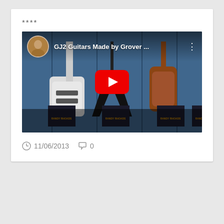****
[Figure (screenshot): YouTube video thumbnail showing GJ2 Guitars Made by Grover ... with guitars displayed against a blue background. A red YouTube play button is centered. A person's circular avatar appears in the top left.]
11/06/2013   0